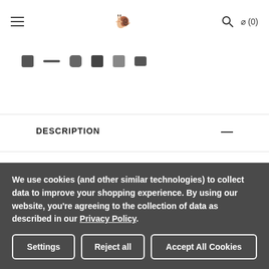Navigation bar with hamburger menu, logo icon, search icon, and cart (0)
[Figure (screenshot): Social media icon row showing Facebook, dash/line, Instagram, Twitter, Pinterest partial icons]
DESCRIPTION
With its stylish Snowdon print, this item will be the talk of the town from the top of Ben Nevis, to the bottom of your garden. For travellers and families alike this unique print is a go to this summer. When you’re outfitting more than a few people, it’s not easy to satisfy everyone in the crew –
We use cookies (and other similar technologies) to collect data to improve your shopping experience. By using our website, you’re agreeing to the collection of data as described in our Privacy Policy.